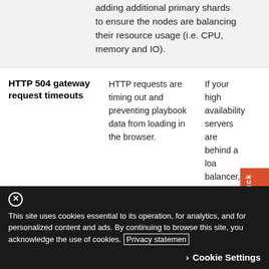adding additional primary shards to ensure the nodes are balancing their resource usage (i.e. CPU, memory and IO).
| Issue | Cause | Solution |
| --- | --- | --- |
| HTTP 504 gateway request timeouts | HTTP requests are timing out and preventing playbook data from loading in the browser. | If your high availability servers are behind a load balancer, increase the timeout on your load balancer to 300s. |
This site uses cookies essential to its operation, for analytics, and for personalized content and ads. By continuing to browse this site, you acknowledge the use of cookies. Privacy statement